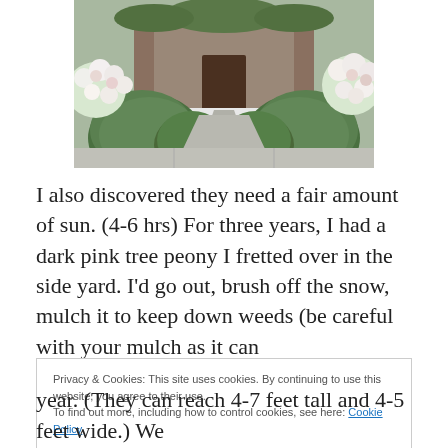[Figure (photo): A garden front yard photo showing rounded trimmed green shrubs/bushes along a concrete walkway leading to a house entrance, with blooming pink/white roses or peonies on the sides, taken in daylight.]
I also discovered they need a fair amount of sun. (4-6 hrs) For three years, I had a dark pink tree peony I fretted over in the side yard. I'd go out, brush off the snow, mulch it to keep down weeds (be careful with your mulch as it can
Privacy & Cookies: This site uses cookies. By continuing to use this website, you agree to their use.
To find out more, including how to control cookies, see here: Cookie Policy
year. (They can reach 4-7 feet tall and 4-5 feet wide.) We